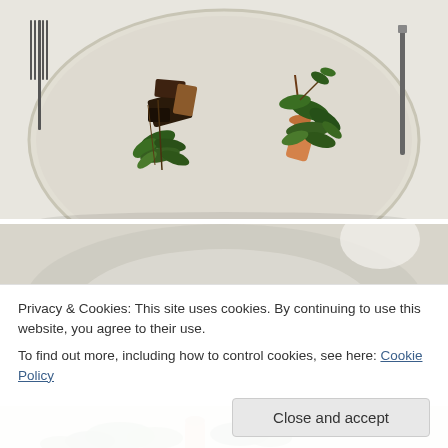[Figure (photo): A fine dining plate on a white tablecloth, shown from above. The round cream-colored plate has two artistic garnishes: one on the left with dark seared meat and fresh green herbs/leaves, and one on the right with what appears to be a cylindrical food item with green herb salad. A fork is visible on the left side and a knife on the right side of the plate.]
[Figure (photo): Partial view of another fine dining plate, blurred/partially visible — appears to show a white plate with food items, cropped at the top of the second image section.]
Privacy & Cookies: This site uses cookies. By continuing to use this website, you agree to their use.
To find out more, including how to control cookies, see here: Cookie Policy
[Figure (photo): Partial bottom strip of a third fine dining photo showing green leafy herbs and what appears to be a cylindrical food item on a plate.]